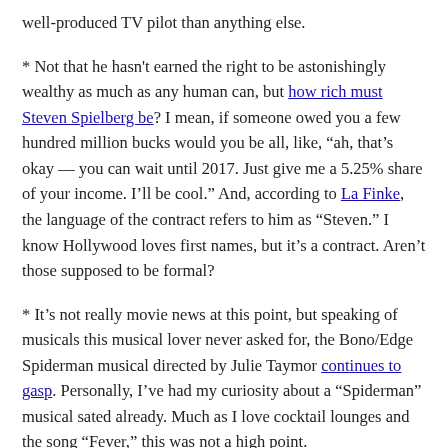well-produced TV pilot than anything else.
* Not that he hasn't earned the right to be astonishingly wealthy as much as any human can, but how rich must Steven Spielberg be? I mean, if someone owed you a few hundred million bucks would you be all, like, "ah, that's okay — you can wait until 2017. Just give me a 5.25% share of your income. I'll be cool." And, according to La Finke, the language of the contract refers to him as "Steven." I know Hollywood loves first names, but it's a contract. Aren't those supposed to be formal?
* It's not really movie news at this point, but speaking of musicals this musical lover never asked for, the Bono/Edge Spiderman musical directed by Julie Taymor continues to gasp. Personally, I've had my curiosity about a "Spiderman" musical sated already. Much as I love cocktail lounges and the song "Fever," this was not a high point.